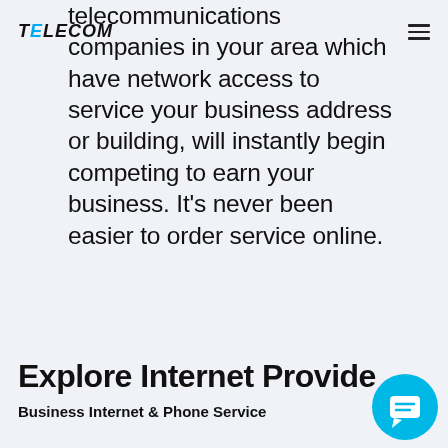TELECOM [logo]
telecommunications companies in your area which have network access to service your business address or building, will instantly begin competing to earn your business. It's never been easier to order service online.
Explore Internet Provide
Business Internet & Phone Service